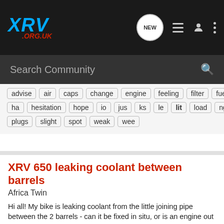XRV .ORG.UK
Search Community
advise air caps change engine feeling filter fuel gi ha hesitation hope io jus ks le lit load ngk plugs slight spot weak wee
XRV 650 leaking coolant between barrels
Africa Twin
Hi all! My bike is leaking coolant from the little joining pipe between the 2 barrels - can it be fixed in situ, or is an engine out job? Usually Google is my friend, but I need help in a hurry!thanks for any / all replies TA!
3  674
expat Stu · Jun 9, 2018